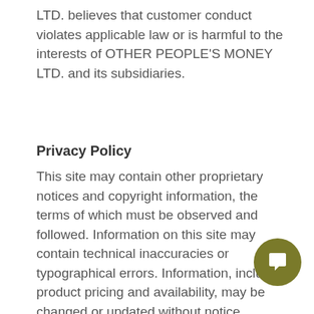LTD. believes that customer conduct violates applicable law or is harmful to the interests of OTHER PEOPLE'S MONEY LTD. and its subsidiaries.
Privacy Policy
This site may contain other proprietary notices and copyright information, the terms of which must be observed and followed. Information on this site may contain technical inaccuracies or typographical errors. Information, including product pricing and availability, may be changed or updated without notice. OTHER PEOPLE'S MONEY and its subsidiaries reserve the right to refuse service, terminate accounts, and/or cancel orders in its discretion, including
[Figure (other): Olive/dark yellow circular chat bubble button icon with white speech bubble icon in the center, positioned in the lower right area of the page]